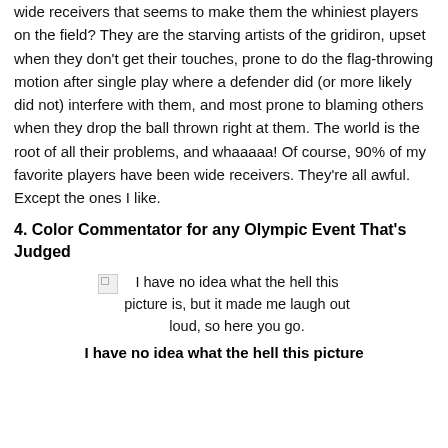wide receivers that seems to make them the whiniest players on the field? They are the starving artists of the gridiron, upset when they don't get their touches, prone to do the flag-throwing motion after single play where a defender did (or more likely did not) interfere with them, and most prone to blaming others when they drop the ball thrown right at them. The world is the root of all their problems, and whaaaaa! Of course, 90% of my favorite players have been wide receivers. They're all awful. Except the ones I like.
4. Color Commentator for any Olympic Event That's Judged
[Figure (photo): Broken image placeholder with caption: I have no idea what the hell this picture is, but it made me laugh out loud, so here you go.]
I have no idea what the hell this picture is, but it made me laugh out loud, so here you go.
I have no idea what the hell this picture